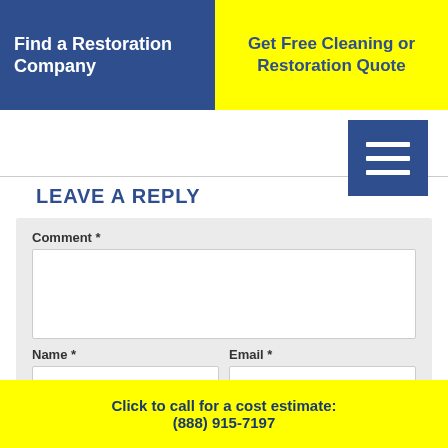Find a Restoration Company
Get Free Cleaning or Restoration Quote
[Figure (other): Hamburger menu icon button (three white horizontal lines on dark blue square background)]
LEAVE A REPLY
Comment *
Name *
Email *
Website
Click to call for a cost estimate: (888) 915-7197